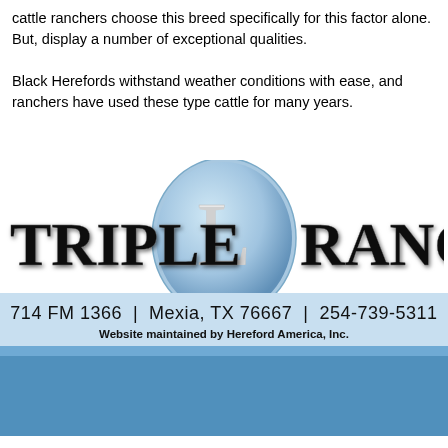cattle ranchers choose this breed specifically for this factor alone. But, display a number of exceptional qualities.

Black Herefords withstand weather conditions with ease, and ranchers have used these type cattle for many years.
[Figure (logo): Triple L Ranch logo — large bold serif text 'TRIPLE L RANCH' with a blue oval/circle containing an ornate letter L in the center]
714 FM 1366  |  Mexia, TX 76667  |  254-739-5311
Website maintained by Hereford America, Inc.